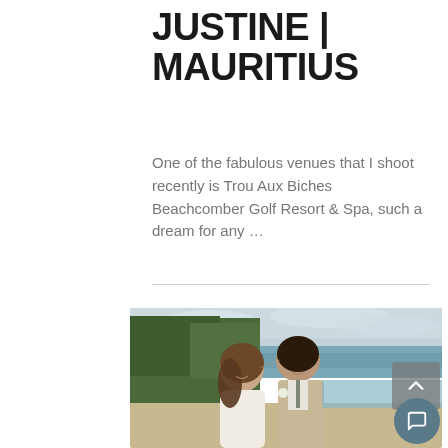JUSTINE | MAURITIUS
One of the fabulous venues that I shoot recently is Trou Aux Biches Beachcomber Golf Resort & Spa, such a dream for any …
[Figure (photo): Wedding couple at a beach resort in Mauritius. Bride and groom touching foreheads, smiling. The bride wears a white dress and the groom wears a tan suit with a bow tie. Tropical trees and cloudy sky in background.]